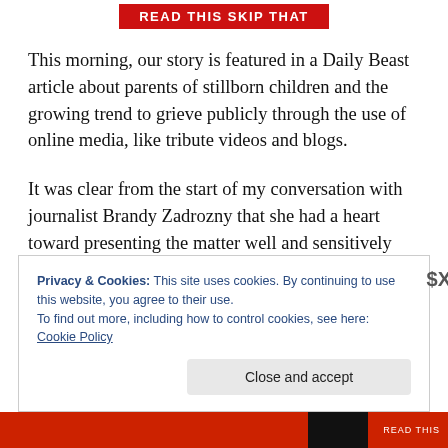READ THIS SKIP THAT
This morning, our story is featured in a Daily Beast article about parents of stillborn children and the growing trend to grieve publicly through the use of online media, like tribute videos and blogs.
It was clear from the start of my conversation with journalist Brandy Zadrozny that she had a heart toward presenting the matter well and sensitively and I'm grateful to have been part of a penetrating article, executed
Privacy & Cookies: This site uses cookies. By continuing to use this website, you agree to their use.
To find out more, including how to control cookies, see here: Cookie Policy
Close and accept